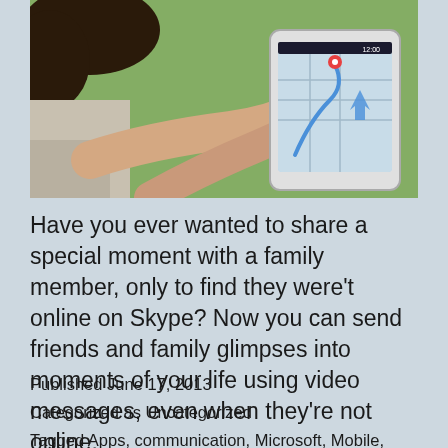[Figure (photo): Person holding a smartphone outdoors, showing a map/navigation app on screen. Green grass visible in background, overhead view of person's hands and head.]
Have you ever wanted to share a special moment with a family member, only to find they were't online on Skype? Now you can send friends and family glimpses into moments of your life using video messages, even when they're not online.
Published June 17, 2013
Categorized as Uncategorized
Tagged Apps, communication, Microsoft, Mobile, News,